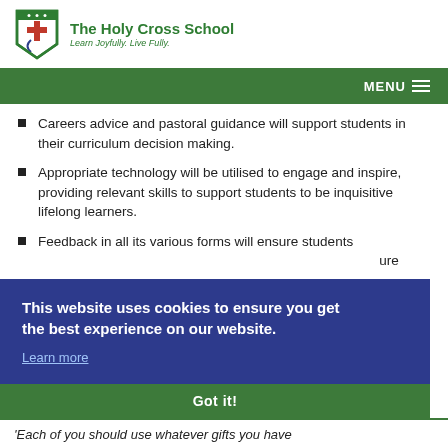[Figure (logo): The Holy Cross School shield logo with cross and crescent, green border]
The Holy Cross School
Learn Joyfully. Live Fully.
MENU
Careers advice and pastoral guidance will support students in their curriculum decision making.
Appropriate technology will be utilised to engage and inspire, providing relevant skills to support students to be inquisitive lifelong learners.
Feedback in all its various forms will ensure students … ure
This website uses cookies to ensure you get the best experience on our website.
Learn more
Got it!
'Each of you should use whatever gifts you have